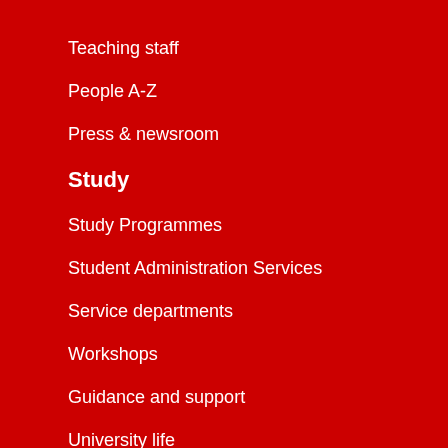Teaching staff
People A-Z
Press & newsroom
Study
Study Programmes
Student Administration Services
Service departments
Workshops
Guidance and support
University life
EmpA anti-racism and empowerment at ASH Berlin
Research